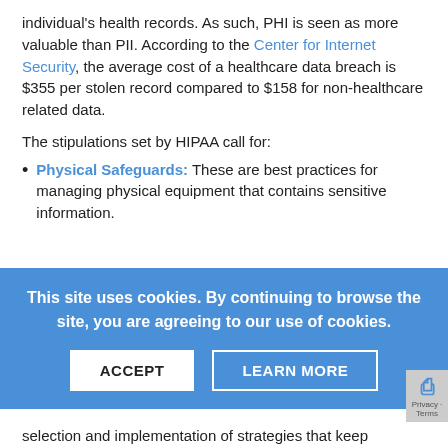individual's health records. As such, PHI is seen as more valuable than PII. According to the Center for Internet Security, the average cost of a healthcare data breach is $355 per stolen record compared to $158 for non-healthcare related data.
The stipulations set by HIPAA call for:
Physical Safeguards: These are best practices for managing physical equipment that contains sensitive information.
This site uses cookies. By continuing to browse the site, you are agreeing to our use of cookies.
selection and implementation of strategies that keep